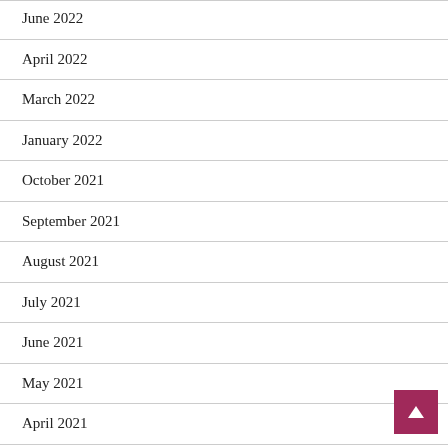June 2022
April 2022
March 2022
January 2022
October 2021
September 2021
August 2021
July 2021
June 2021
May 2021
April 2021
February 2021
December 2020